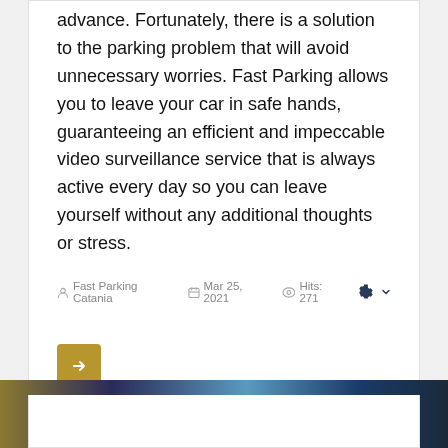advance. Fortunately, there is a solution to the parking problem that will avoid unnecessary worries. Fast Parking allows you to leave your car in safe hands, guaranteeing an efficient and impeccable video surveillance service that is always active every day so you can leave yourself without any additional thoughts or stress.
Fast Parking Catania   Mar 25, 2021   Hits: 271
[Figure (other): Arrow button (right-pointing) in golden/ochre color]
[Figure (photo): Partial photo strip visible at bottom of page, showing blue and dark tones]